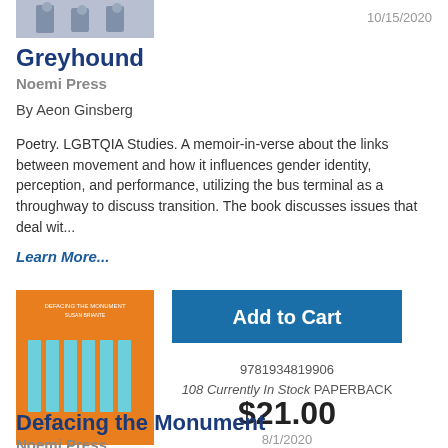[Figure (photo): Top portion of a book cover showing a grayscale photo, partially visible]
10/15/2020
Greyhound
Noemi Press
By Aeon Ginsberg
Poetry. LGBTQIA Studies. A memoir-in-verse about the links between movement and how it influences gender identity, perception, and performance, utilizing the bus terminal as a throughway to discuss transition. The book discusses issues that deal wit...
Learn More...
[Figure (illustration): Book cover for 'Defacing the Monument' by Noemi Press — orange background with light blue vertical stripes and small white title text at top]
Add to Cart
9781934819906
108 Currently In Stock PAPERBACK
$21.00
8/1/2020
Defacing the Monument
Noemi Press